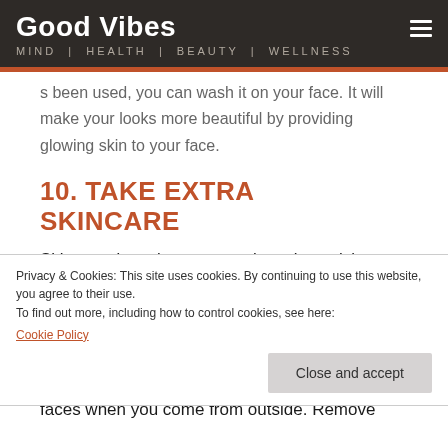Good Vibes
MIND | HEALTH | BEAUTY | WELLNESS
s been used, you can wash it on your face. It will make your looks more beautiful by providing glowing skin to your face.
10. TAKE EXTRA SKINCARE
Skincare doesn't mean consistently applying face packs and other ingredients to your face.
Privacy & Cookies: This site uses cookies. By continuing to use this website, you agree to their use.
To find out more, including how to control cookies, see here:
Cookie Policy
faces when you come from outside. Remove